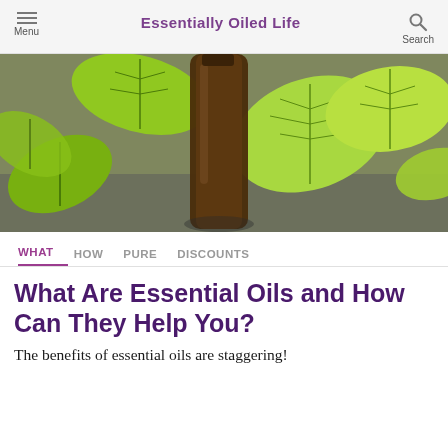Essentially Oiled Life
[Figure (photo): Close-up photo of green mint leaves and a dark amber essential oil bottle on a gray surface]
WHAT   HOW   PURE   DISCOUNTS
What Are Essential Oils and How Can They Help You?
The benefits of essential oils are staggering!